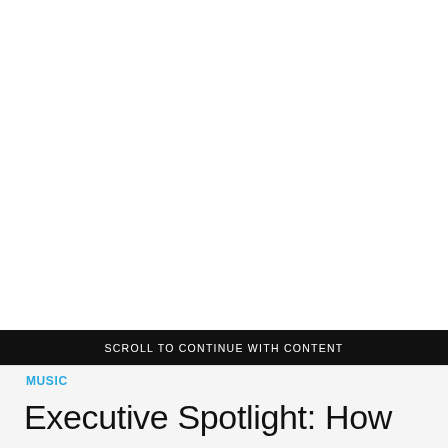[Figure (other): Large white advertisement/blank area at the top of the page]
SCROLL TO CONTINUE WITH CONTENT
MUSIC
Executive Spotlight: How